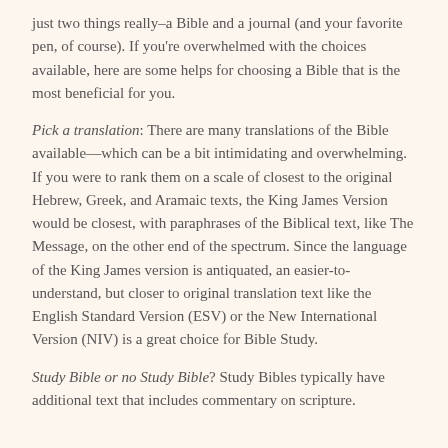just two things really–a Bible and a journal (and your favorite pen, of course). If you're overwhelmed with the choices available, here are some helps for choosing a Bible that is the most beneficial for you.
Pick a translation: There are many translations of the Bible available—which can be a bit intimidating and overwhelming. If you were to rank them on a scale of closest to the original Hebrew, Greek, and Aramaic texts, the King James Version would be closest, with paraphrases of the Biblical text, like The Message, on the other end of the spectrum. Since the language of the King James version is antiquated, an easier-to-understand, but closer to original translation text like the English Standard Version (ESV) or the New International Version (NIV) is a great choice for Bible Study.
Study Bible or no Study Bible? Study Bibles typically have additional text that includes commentary on scripture.